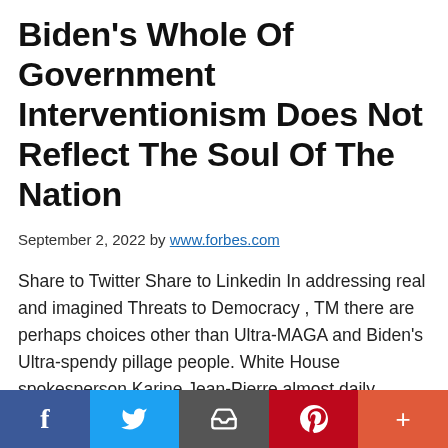Biden's Whole Of Government Interventionism Does Not Reflect The Soul Of The Nation
September 2, 2022 by www.forbes.com
Share to Twitter Share to Linkedin In addressing real and imagined Threats to Democracy , TM there are perhaps choices other than Ultra-MAGA and Biden's Ultra-spendy pillage people. White House spokesperson Karine Jean-Pierre almost daily repeats that Joe Biden will not " shy away from calling out " this or that. Accordingly, this week in Philadelphia, Biden did so again in red-tinged fury with remarks " On the Continued Battle for the Soul